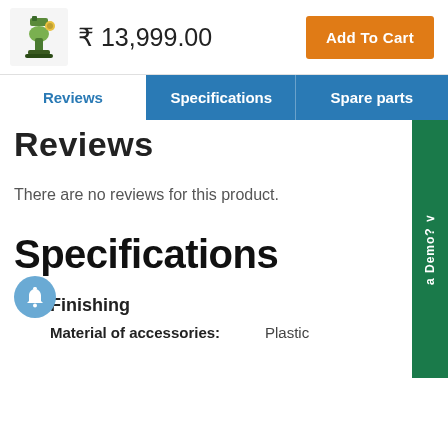₹ 13,999.00
Add To Cart
Reviews
Specifications
Spare parts
Reviews
There are no reviews for this product.
a Demo? ∨
Specifications
Finishing
|  |  |
| --- | --- |
| Material of accessories: | Plastic |